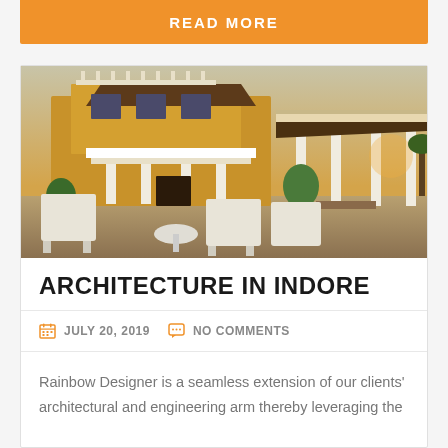READ MORE
[Figure (photo): Photograph of a large yellow villa/bungalow with white columns, a covered porch, and an adjacent open pavilion. Outdoor chairs and a table are visible in the foreground.]
ARCHITECTURE IN INDORE
JULY 20, 2019   NO COMMENTS
Rainbow Designer is a seamless extension of our clients' architectural and engineering arm thereby leveraging the